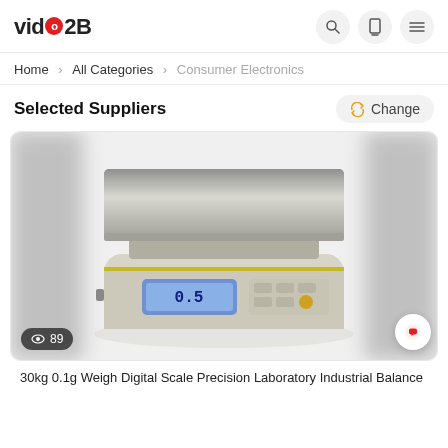video2B
Home > All Categories > Consumer Electronics
Selected Suppliers
[Figure (photo): A digital weighing scale (30kg 0.1g precision laboratory/industrial balance) with a stainless steel platform, LCD display, and keypad. View count badge showing 89 is visible in the bottom left corner.]
30kg 0.1g Weigh Digital Scale Precision Laboratory Industrial Balance